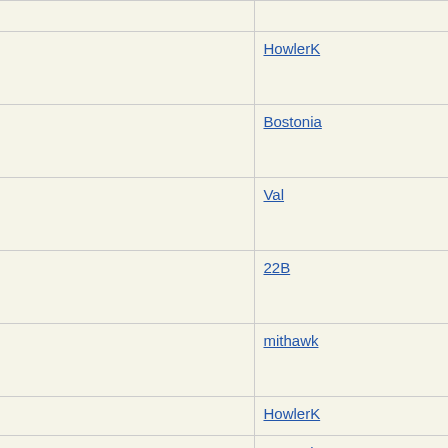| Topic | Author |
| --- | --- |
| Re: Ivy League Admissions. |  |
| Re: Ivy League Admissions. | HowlerK |
| Re: Ivy League Admissions. | Bostonia |
| Re: Ivy League Admissions. | Val |
| Re: Ivy League Admissions. | 22B |
| Re: Ivy League Admissions. | mithawk |
| Re: Ivy League League Admissions. | HowlerK |
| Re: Ivy League Admissions. | Bostonia |
| Re: Ivy League Admissions. | HowlerK |
| Re: Ivy League Admissions. | Tigerle |